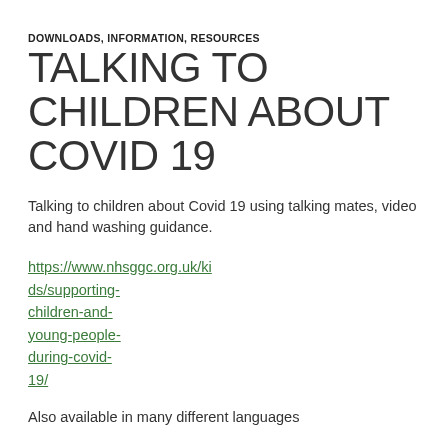DOWNLOADS, INFORMATION, RESOURCES
TALKING TO CHILDREN ABOUT COVID 19
Talking to children about Covid 19 using talking mates, video and hand washing guidance.
https://www.nhsggc.org.uk/kids/supporting-children-and-young-people-during-covid-19/
Also available in many different languages